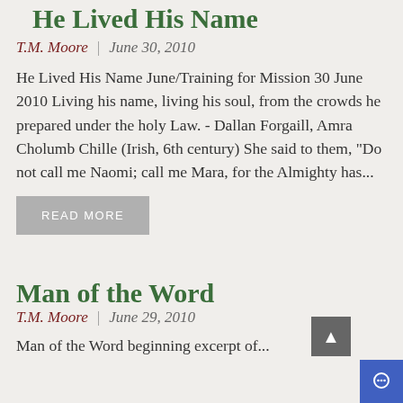He Lived His Name
T.M. Moore  |  June 30, 2010
He Lived His Name June/Training for Mission 30 June 2010 Living his name, living his soul, from the crowds he prepared under the holy Law. - Dallan Forgaill, Amra Cholumb Chille (Irish, 6th century) She said to them, "Do not call me Naomi; call me Mara, for the Almighty has...
READ MORE
Man of the Word
T.M. Moore  |  June 29, 2010